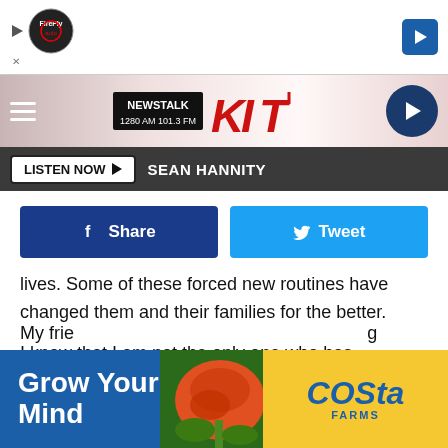[Figure (screenshot): Top advertisement banner with auto logo and navigation arrow]
[Figure (logo): Newstalk KIT 1280 AM 101.3 FM radio station header logo with hamburger menu and play button]
LISTEN NOW  SEAN HANNITY
[Figure (infographic): Facebook Share and Twitter Tweet social sharing buttons]
lives. Some of these forced new routines have changed them and their families for the better.
I know that I am not the only one who has discovered the surprising feelings of a more joyful life. I have been deeply reflecting on the changes my family and others have adapted to that we don't want to end when the COVID-19 scare is over.
[Figure (screenshot): Costa Farms advertisement banner - Grow Your Mind]
My frie                                                                g